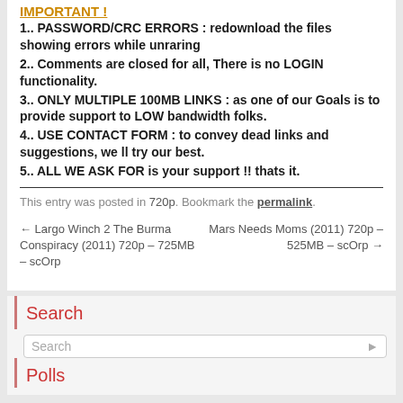IMPORTANT !
1.. PASSWORD/CRC ERRORS : redownload the files showing errors while unraring
2.. Comments are closed for all, There is no LOGIN functionality.
3.. ONLY MULTIPLE 100MB LINKS : as one of our Goals is to provide support to LOW bandwidth folks.
4.. USE CONTACT FORM : to convey dead links and suggestions, we ll try our best.
5.. ALL WE ASK FOR is your support !! thats it.
This entry was posted in 720p. Bookmark the permalink.
← Largo Winch 2 The Burma Conspiracy (2011) 720p – 725MB – scOrp
Mars Needs Moms (2011) 720p – 525MB – scOrp →
Search
Search
Polls